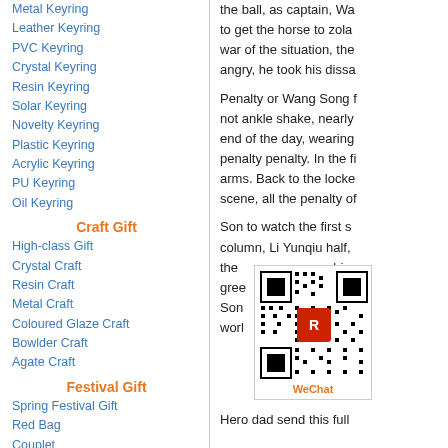Metal Keyring
Leather Keyring
PVC Keyring
Crystal Keyring
Resin Keyring
Solar Keyring
Novelty Keyring
Plastic Keyring
Acrylic Keyring
PU Keyring
Oil Keyring
Craft Gift
High-class Gift
Crystal Craft
Resin Craft
Metal Craft
Coloured Glaze Craft
Bowlder Craft
Agate Craft
Festival Gift
Spring Festival Gift
Red Bag
Couplet
Door Sticker
China Knot
Lantern
Desk Calendar/Hanging Calendar
Christmas Gift
the ball, as captain, Wa to get the horse to zola war of the situation, the angry, he took his dissa
Penalty or Wang Song f not ankle shake, nearly end of the day, wearing penalty penalty. In the fi arms. Back to the locke scene, all the penalty of
Son to watch the first s column, Li Yunqiu half, the him gree ing Son iver world snap
[Figure (other): WeChat QR code with red logo in center and WeChat label below]
Hero dad send this full